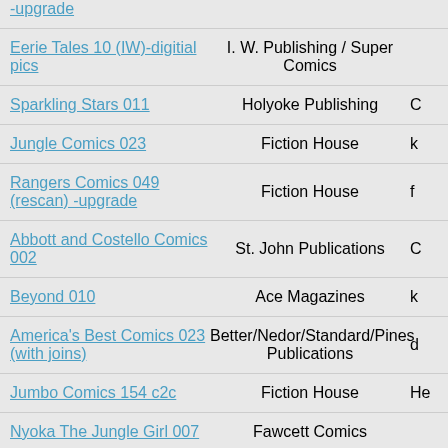| Title | Publisher | Notes |
| --- | --- | --- |
| -upgrade |  |  |
| Eerie Tales 10 (IW)-digitial pics | I. W. Publishing / Super Comics |  |
| Sparkling Stars 011 | Holyoke Publishing | C |
| Jungle Comics 023 | Fiction House | k |
| Rangers Comics 049 (rescan) -upgrade | Fiction House | f |
| Abbott and Costello Comics 002 | St. John Publications | C |
| Beyond 010 | Ace Magazines | k |
| America's Best Comics 023 (with joins) | Better/Nedor/Standard/Pines Publications | d |
| Jumbo Comics 154 c2c | Fiction House | He |
| Nyoka The Jungle Girl 007 | Fawcett Comics |  |